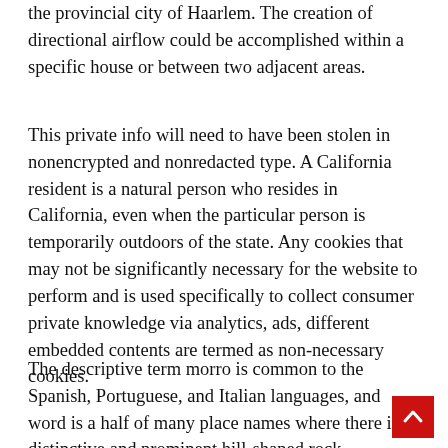the provincial city of Haarlem. The creation of directional airflow could be accomplished within a specific house or between two adjacent areas.
This private info will need to have been stolen in nonencrypted and nonredacted type. A California resident is a natural person who resides in California, even when the particular person is temporarily outdoors of the state. Any cookies that may not be significantly necessary for the website to perform and is used specifically to collect consumer private knowledge via analytics, ads, different embedded contents are termed as non-necessary cookies.
The descriptive term morro is common to the Spanish, Portuguese, and Italian languages, and word is a half of many place names where there is a distinctive and prominent hill-shaped rock formation.